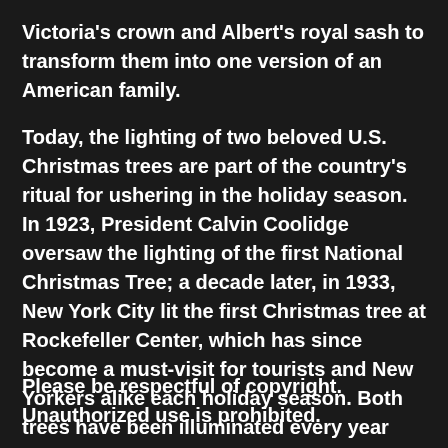Victoria's crown and Albert's royal sash to transform them into one version of an American family.
Today, the lighting of two beloved U.S. Christmas trees are part of the country's ritual for ushering in the holiday season. In 1923, President Calvin Coolidge oversaw the lighting of the first National Christmas Tree; a decade later, in 1933, New York City lit the first Christmas tree at Rockefeller Center, which has since become a must-visit for tourists and New Yorkers alike each holiday season. Both trees have been illuminated every year since, save for a few years in the 1940s when they went dark due to blackout restrictions during World War II.
Please be respectful of copyright. Unauthorized use is prohibited.